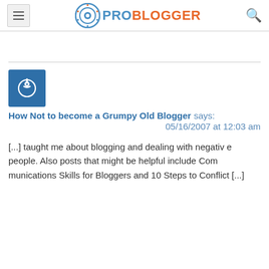ProBlogger
[Figure (logo): ProBlogger logo with circular power icon and orange/blue text]
How Not to become a Grumpy Old Blogger says: 05/16/2007 at 12:03 am
[...] taught me about blogging and dealing with negative people. Also posts that might be helpful include Communications Skills for Bloggers and 10 Steps to Conflict [...]